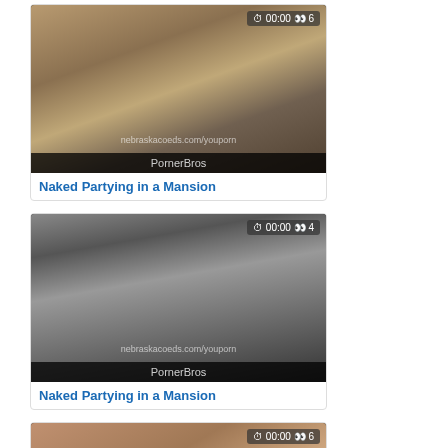[Figure (screenshot): Video thumbnail card 1 - Naked Partying in a Mansion, duration 00:00, 6 views]
Naked Partying in a Mansion
[Figure (screenshot): Video thumbnail card 2 - Naked Partying in a Mansion, duration 00:00, 4 views]
Naked Partying in a Mansion
[Figure (screenshot): Video thumbnail card 3 - partial view, duration 00:00, 6 views]